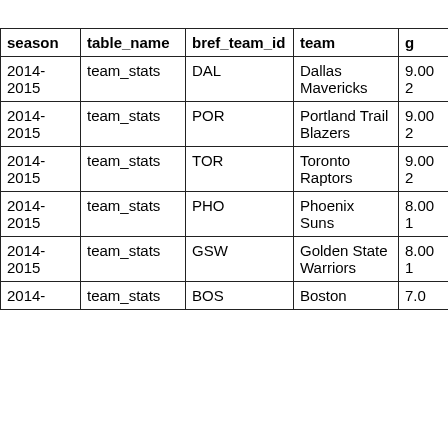| season | table_name | bref_team_id | team | g |
| --- | --- | --- | --- | --- |
| 2014-2015 | team_stats | DAL | Dallas Mavericks | 9.002 |
| 2014-2015 | team_stats | POR | Portland Trail Blazers | 9.002 |
| 2014-2015 | team_stats | TOR | Toronto Raptors | 9.002 |
| 2014-2015 | team_stats | PHO | Phoenix Suns | 8.001 |
| 2014-2015 | team_stats | GSW | Golden State Warriors | 8.001 |
| 2014- | team_stats | BOS | Boston | 7.0... |